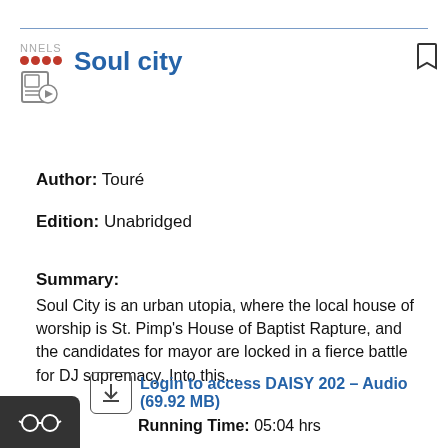[Figure (logo): NNELS logo with red dots and audio book icon]
Soul city
Author: Touré
Edition: Unabridged
Summary:
Soul City is an urban utopia, where the local house of worship is St. Pimp's House of Baptist Rapture, and the candidates for mayor are locked in a fierce battle for DJ supremacy. Into this...
Login to access DAISY 202 - Audio (69.92 MB)
Running Time: 05:04 hrs